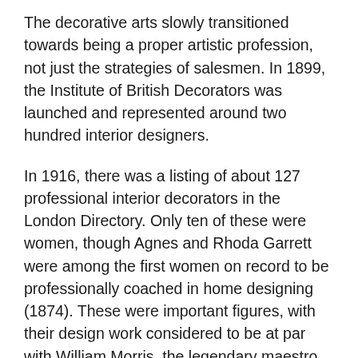The decorative arts slowly transitioned towards being a proper artistic profession, not just the strategies of salesmen. In 1899, the Institute of British Decorators was launched and represented around two hundred interior designers.
In 1916, there was a listing of about 127 professional interior decorators in the London Directory. Only ten of these were women, though Agnes and Rhoda Garrett were among the first women on record to be professionally coached in home designing (1874). These were important figures, with their design work considered to be at par with William Morris, the legendary maestro of interior design. They even published a guide in 1876 with the name of “Suggestions for House Decoration in